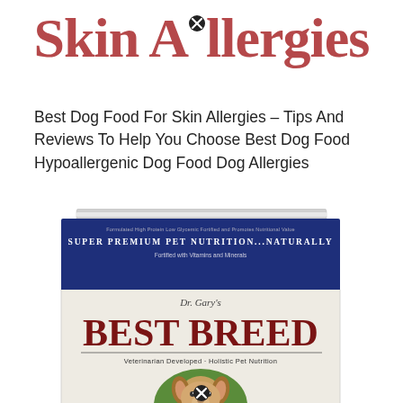Skin Allergies
Best Dog Food For Skin Allergies – Tips And Reviews To Help You Choose Best Dog Food Hypoallergenic Dog Food Dog Allergies
[Figure (photo): Product photo of Dr. Gary's Best Breed dog food bag with blue top section showing 'Super Premium Pet Nutrition...Naturally' text and cream lower section with brand name, tagline 'Veterinarian Developed · Holistic Pet Nutrition', and a dog face in a green circular area at bottom.]